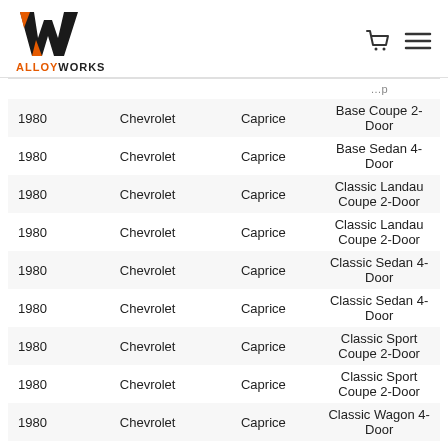[Figure (logo): AlloyWorks logo with stylized W in black and orange, text ALLOYWORKS below]
| Year | Make | Model | Submodel |
| --- | --- | --- | --- |
| 1980 | Chevrolet | Caprice | Base Coupe 2-Door |
| 1980 | Chevrolet | Caprice | Base Sedan 4-Door |
| 1980 | Chevrolet | Caprice | Classic Landau Coupe 2-Door |
| 1980 | Chevrolet | Caprice | Classic Landau Coupe 2-Door |
| 1980 | Chevrolet | Caprice | Classic Sedan 4-Door |
| 1980 | Chevrolet | Caprice | Classic Sedan 4-Door |
| 1980 | Chevrolet | Caprice | Classic Sport Coupe 2-Door |
| 1980 | Chevrolet | Caprice | Classic Sport Coupe 2-Door |
| 1980 | Chevrolet | Caprice | Classic Wagon 4-Door |
| 1980 | Chevrolet | Caprice | Classic Wagon 4-Door |
| 1980 | Chevrolet | El Camino | Base Standard Cab Pickup 2-Door |
| 1980 | Chevrolet | El Camino | Royal Knight Standard Cab Pickup 2-Door |
| 1980 | Chevrolet | El Camino | SS Standard Cab Pickup 2-Door |
| 1980 | Chevrolet | El Camino | SS Standard Cab Pickup 2-Door |
| 1980 | Chevrolet | G10 | Beauville Extended Passenger Van 3-Door |